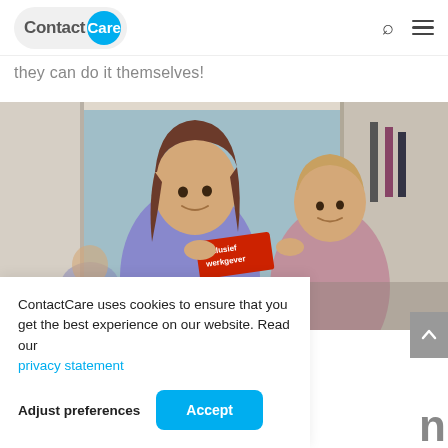ContactCare
they can do it themselves!
[Figure (photo): Two women smiling and holding a red badge reading 'inclusief werkgever' (inclusive employer), taken in a mirror selfie in an office/care setting.]
ContactCare uses cookies to ensure that you get the best experience on our website. Read our privacy statement
Adjust preferences
Accept